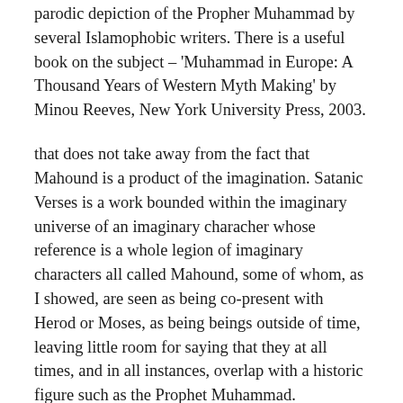parodic depiction of the Propher Muhammad by several Islamophobic writers. There is a useful book on the subject – 'Muhammad in Europe: A Thousand Years of Western Myth Making' by Minou Reeves, New York University Press, 2003.
that does not take away from the fact that Mahound is a product of the imagination. Satanic Verses is a work bounded within the imaginary universe of an imaginary characher whose reference is a whole legion of imaginary characters all called Mahound, some of whom, as I showed, are seen as being co-present with Herod or Moses, as being beings outside of time, leaving little room for saying that they at all times, and in all instances, overlap with a historic figure such as the Prophet Muhammad.
Let us now argue that what Rushdie does is to take this